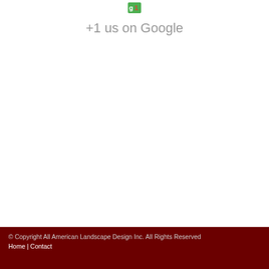[Figure (logo): Google +1 button icon — small image showing 'g1' with Google colors (green and red)]
+1 us on Google
© Copyright All American Landscape Design Inc. All Rights Reserved
Home | Contact